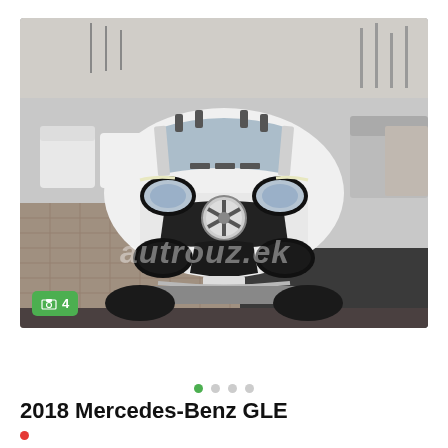[Figure (photo): Front-facing white Mercedes-Benz GLE SUV parked in an outdoor lot with other vehicles and cranes/port equipment visible in background. A watermark reading 'autrouz.ek' is overlaid on the image.]
4
• • • •
2018 Mercedes-Benz GLE
•